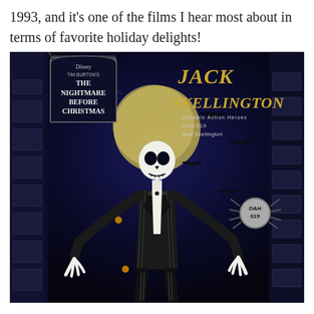1993, and it's one of the films I hear most about in terms of favorite holiday delights!
[Figure (illustration): Jack Skellington Dynamic Action Heroes DAH-019 action figure box art from The Nightmare Before Christmas. Dark gothic background with bats, spiderwebs, and ornate borders. Jack Skellington character in black and white pinstripe suit with skull head stands in center. Upper left shows Disney Tim Burton's The Nightmare Before Christmas logo in tombstone shape. Upper right shows 'JACK SKELLINGTON' in gold stylized text, with 'Dynamic Action Heroes DAH-019 Jack Skellington' below. Spider badge with 'DAH 019' on right side.]